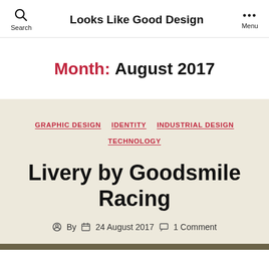Search | Looks Like Good Design | Menu
Month: August 2017
GRAPHIC DESIGN  IDENTITY  INDUSTRIAL DESIGN  TECHNOLOGY
Livery by Goodsmile Racing
By  24 August 2017  1 Comment